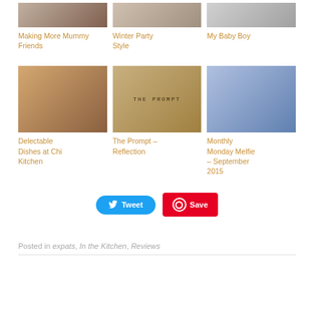[Figure (photo): Thumbnail image for Making More Mummy Friends post]
Making More Mummy Friends
[Figure (photo): Thumbnail image for Winter Party Style post]
Winter Party Style
[Figure (photo): Thumbnail image for My Baby Boy post]
My Baby Boy
[Figure (photo): Collage of food dishes at Chi Kitchen]
Delectable Dishes at Chi Kitchen
[Figure (photo): The Prompt book cover image]
The Prompt – Reflection
[Figure (photo): Selfie of two people, mother and child]
Monthly Monday Melfie – September 2015
Tweet  Save
Posted in expats, In the Kitchen, Reviews